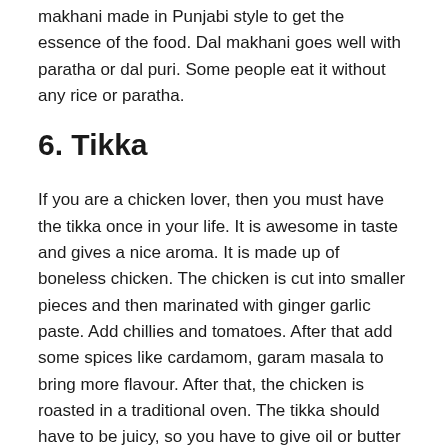makhani made in Punjabi style to get the essence of the food. Dal makhani goes well with paratha or dal puri. Some people eat it without any rice or paratha.
6. Tikka
If you are a chicken lover, then you must have the tikka once in your life. It is awesome in taste and gives a nice aroma. It is made up of boneless chicken. The chicken is cut into smaller pieces and then marinated with ginger garlic paste. Add chillies and tomatoes. After that add some spices like cardamom, garam masala to bring more flavour. After that, the chicken is roasted in a traditional oven. The tikka should have to be juicy, so you have to give oil or butter to make it juicy. It is undoubtedly one of the most famous foods in Punjab.
7. Sai...